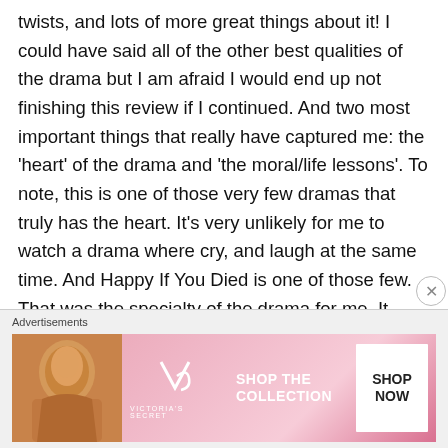twists, and lots of more great things about it! I could have said all of the other best qualities of the drama but I am afraid I would end up not finishing this review if I continued. And two most important things that really have captured me: the 'heart' of the drama and 'the moral/life lessons'. To note, this is one of those very few dramas that truly has the heart. It's very unlikely for me to watch a drama where cry, and laugh at the same time. And Happy If You Died is one of those few. That was the specialty of the drama for me. It knew how to suddenly turn your laughter to cry in just a flick. Another drama that
Advertisements
[Figure (photo): Victoria's Secret advertisement banner with a model, VS logo, 'SHOP THE COLLECTION' text, and 'SHOP NOW' button]